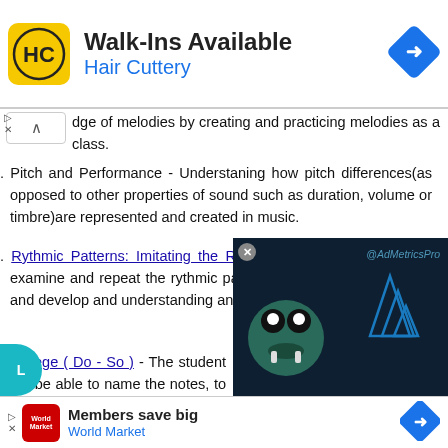[Figure (screenshot): Advertisement banner for Hair Cuttery - Walk-Ins Available with yellow HC logo and blue navigation arrow icon]
...dge of melodies by creating and practicing melodies as a class.
Pitch and Performance - Understaning how pitch differences(as opposed to other properties of sound such as duration, volume or timbre)are represented and created in music.
Rythmic Patterns: Imitating the Rythm of Words - Students will examine and repeat the rythmic patterns that are found in words and develop and understanding and apreciation of rythm.
Solfege ( Do - So ) - The student will be able to name the notes, to write the notes and to sing the notes and the important thing is to me...
[Figure (screenshot): Video overlay showing animated monster character with @AdMetricsPro watermark and blue geometric graphic on dark background]
[Figure (screenshot): Advertisement banner for World Market - Members save big with red logo and blue navigation arrow icon]